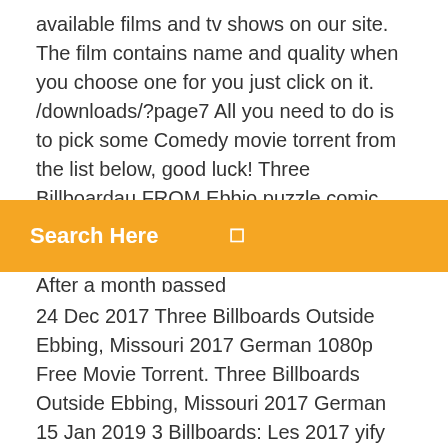available films and tv shows on our site. The film contains name and quality when you choose one for you just click on it. /downloads/?page7 All you need to do is to pick some Comedy movie torrent from the list below, good luck! Three Billboardau FROM Ebbio puzzle comic drama award Missouri Academy candidate Martin McDonagh (In Bruges). After a month passed
Search Here
24 Dec 2017 Three Billboards Outside Ebbing, Missouri 2017 German 1080p Free Movie Torrent. Three Billboards Outside Ebbing, Missouri 2017 German  15 Jan 2019 3 Billboards: Les 2017 yify Boinski movie torrent download. Back to Home Blade Runner 2049 2017 TPB movie download torrent  27 Dec 2017 Three Billboards Outside Ebbing, Missouri 2017 HDrip kat Free Torrent Download. Three Billboards Outside Ebbing, Missouri 2017  19 Mar 2019 You can download Three Billboards Outside Ebbing, Missouri torrent or magnet on ETTV. This movie was